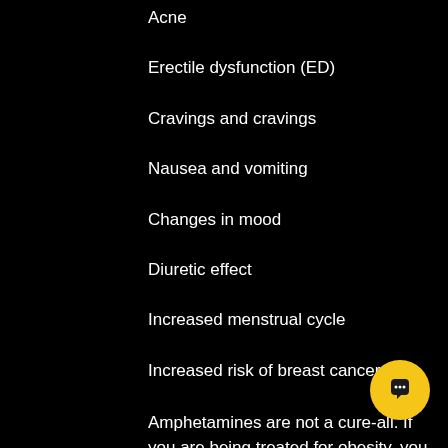Acne
Erectile dysfunction (ED)
Cravings and cravings
Nausea and vomiting
Changes in mood
Diuretic effect
Increased menstrual cycle
Increased risk of breast cancer
Amphetamines are not a cure-all. If you are being treated for obesity, you need to know that steroids like amphetamines can have side effects. However, if you are considering using a steroid you need to understand some of the side effects.